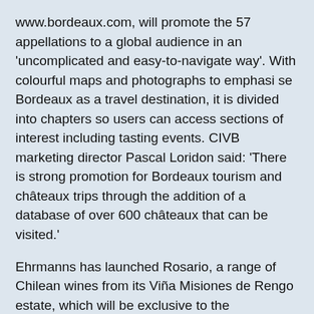www.bordeaux.com, will promote the 57 appellations to a global audience in an 'uncomplicated and easy-to-navigate way'. With colourful maps and photographs to emphasise Bordeaux as a travel destination, it is divided into chapters so users can access sections of interest including tasting events. CIVB marketing director Pascal Loridon said: 'There is strong promotion for Bordeaux tourism and châteaux trips through the addition of a database of over 600 châteaux that can be visited.'
Ehrmanns has launched Rosario, a range of Chilean wines from its Viña Misiones de Rengo estate, which will be exclusive to the independent and wholesale sectors. The range will include a choice of varietal and reserva wines, expected to retail at around £4-5 and £6-7. The varietal range is made up of Chardonnay, Sauvignon Blanc, Merlot and Cabernet
rosé, while the reserva range consists of Carmenère and